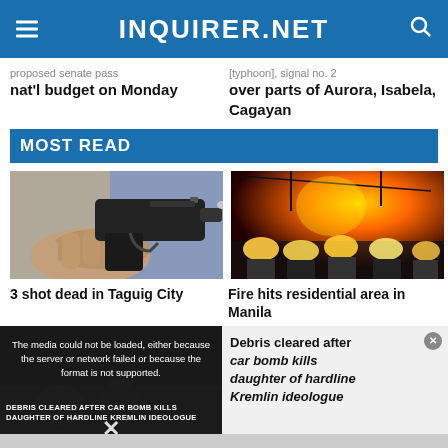INQUIRER.NET
proposed senate pass nat'l budget on Monday
[typhoon], signal no. 2 over parts of Aurora, Isabela, Cagayan
MOST READ
[Figure (photo): Close-up of a hand holding a black pistol firing a bullet]
3 shot dead in Taguig City
[Figure (photo): Fire engulfing a residential area with firefighters in helmets visible in foreground against large orange flames]
Fire hits residential area in Manila
[Figure (photo): Video still showing debris clearing after car bomb kills daughter of hardline Kremlin ideologue, with video error overlay]
Debris cleared after car bomb kills daughter of hardline Kremlin ideologue
The media could not be loaded, either because the server or network failed or because the format is not supported.